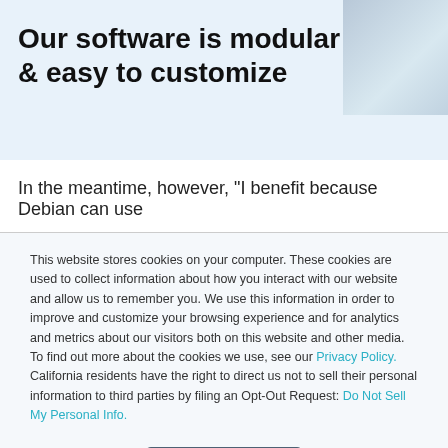Our software is modular & easy to customize
In the meantime, however, “I benefit because Debian can use
This website stores cookies on your computer. These cookies are used to collect information about how you interact with our website and allow us to remember you. We use this information in order to improve and customize your browsing experience and for analytics and metrics about our visitors both on this website and other media. To find out more about the cookies we use, see our Privacy Policy. California residents have the right to direct us not to sell their personal information to third parties by filing an Opt-Out Request: Do Not Sell My Personal Info.
Accept